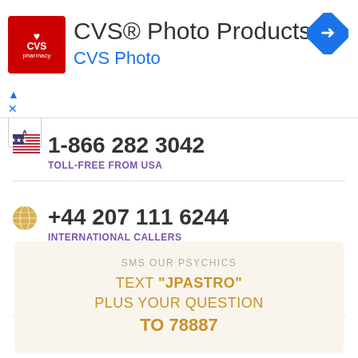[Figure (screenshot): CVS Photo Products advertisement banner with CVS pharmacy logo, product title, blue arrow navigation icon]
1-866 282 3042
TOLL-FREE FROM USA
+44 207 111 6244
INTERNATIONAL CALLERS
0906 calls cost £1.50 per minute plus phone provider's access charge. All calls recorded, 18+ with bill payer's permission. Entertainment SP www.inveroak.com. Customer service: 0800 970 2111. Terms and conditions.
SMS OUR PSYCHICS
TEXT "JPASTRO" PLUS YOUR QUESTION TO 78887